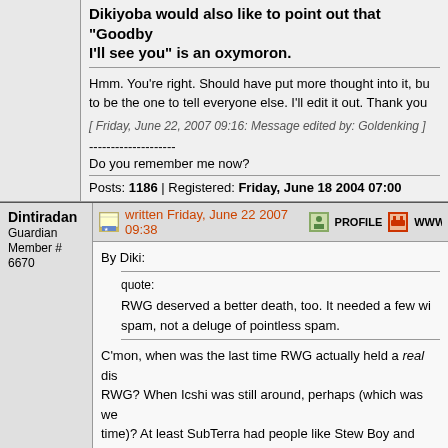Dikiyoba would also like to point out that "Goodbye, I'll see you" is an oxymoron.
Hmm. You're right. Should have put more thought into it, bu to be the one to tell everyone else. I'll edit it out. Thank you
[ Friday, June 22, 2007 09:16: Message edited by: Goldenking ]
--------------------
Do you remember me now?
Posts: 1186 | Registered: Friday, June 18 2004 07:00
Dintiradan
Guardian
Member # 6670
written Friday, June 22 2007 09:38
By Diki:
quote:
RWG deserved a better death, too. It needed a few wi spam, not a deluge of pointless spam.
C'mon, when was the last time RWG actually held a real di RWG? When Icshi was still around, perhaps (which was we time)? At least SubTerra had people like Stew Boy and Mys
--------------------
On the other hand, you have different fingers.
- Steven Wright